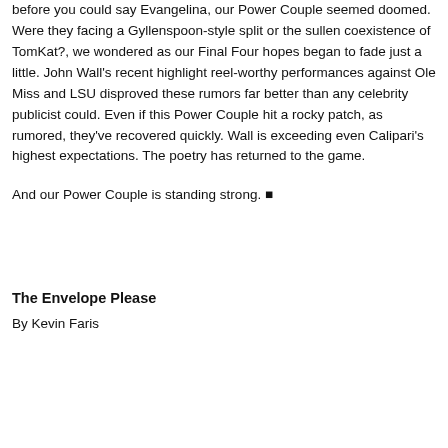before you could say Evangelina, our Power Couple seemed doomed. Were they facing a Gyllenspoon-style split or the sullen coexistence of TomKat?, we wondered as our Final Four hopes began to fade just a little. John Wall's recent highlight reel-worthy performances against Ole Miss and LSU disproved these rumors far better than any celebrity publicist could. Even if this Power Couple hit a rocky patch, as rumored, they've recovered quickly. Wall is exceeding even Calipari's highest expectations. The poetry has returned to the game.
And our Power Couple is standing strong. ■
The Envelope Please
By Kevin Faris
[Figure (screenshot): Infolinks advertisement banner showing a Wayfair.com ad with the text 'Wayfair.com - Online Home Stor...' and 'Shop for A Zillion Things Home across all styles at Wayfair!' with a blue arrow button and an image of a room.]